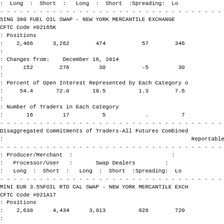:  Long  :  Short  :   Long  :  Short  :Spreading:  Lo
SING 380 FUEL OIL SWAP - NEW YORK MERCANTILE EXCHANGE
CFTC Code #02165K
: Positions
:    2,466      3,262        474           57        346
:
: Changes from:    December 16, 2014
:      152        276         30           -5         30
:
: Percent of Open Interest Represented by Each Category o
:     54.4       72.0       10.5          1.3        7.6
:
: Number of Traders in Each Category
:       16         17          5            .          7
Disaggregated Commitments of Traders-All Futures Combined
:                                                          Reportable
: Producer/Merchant  :                              :
:   Processor/User   :       Swap Dealers         :
:   Long  :  Short  :   Long  :  Short  :Spreading:  Lo
MINI EUR 3.5%FOIL RTD CAL SWAP - NEW YORK MERCANTILE EXCH
CFTC Code #021A17
: Positions
:    2,638      4,434      3,013          826        720
:
: Changes from:    December 16, 2014
:      302         -1          0           18         44